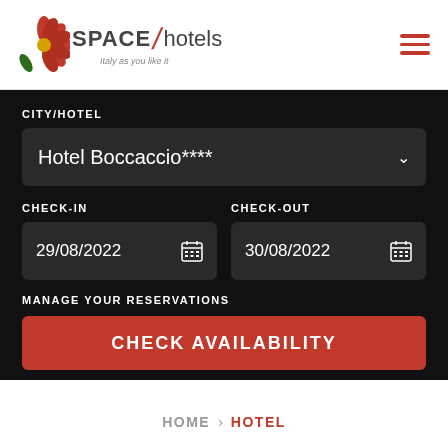[Figure (logo): Space Hotels logo with red flower, slash divider, and tagline 'Italy as you like it']
CITY/HOTEL
Hotel Boccaccio****
CHECK-IN
29/08/2022
CHECK-OUT
30/08/2022
MANAGE YOUR RESERVATIONS
CHECK AVAILABILITY
HOME > HOTEL